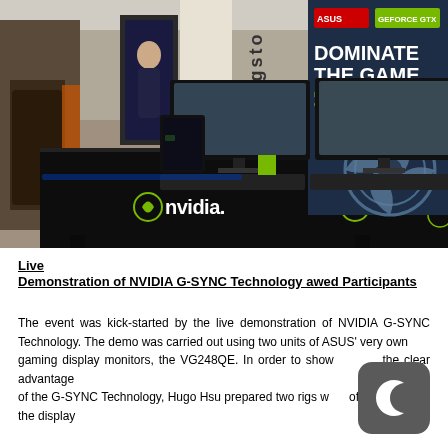[Figure (photo): Photo of an NVIDIA gaming event booth setup with two monitors displaying game footage, NVIDIA-branded black tablecloths with green NVIDIA logos, Kingston banner in background, and an ASUS/NVIDIA 'Dominate The Game' banner on the right.]
Live
Live Demonstration of NVIDIA G-SYNC Technology awed Participants
The event was kick-started by the live demonstration of NVIDIA G-SYNC Technology. The demo was carried out using two units of ASUS' very own gaming display monitors, the VG248QE. In order to show the clear advantage of the G-SYNC Technology, Hugo Hsu prepared two rigs w of the display